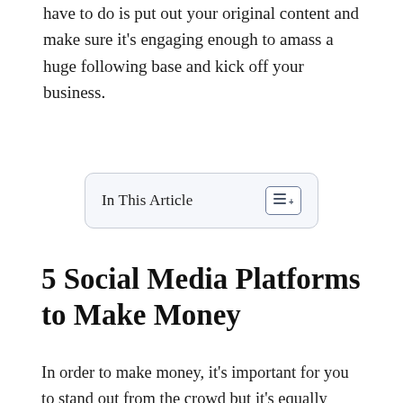have to do is put out your original content and make sure it's engaging enough to amass a huge following base and kick off your business.
[Figure (other): A rounded rectangle box with light blue-grey background containing the text 'In This Article' and a list/menu icon button on the right]
5 Social Media Platforms to Make Money
In order to make money, it's important for you to stand out from the crowd but it's equally important to figure out the